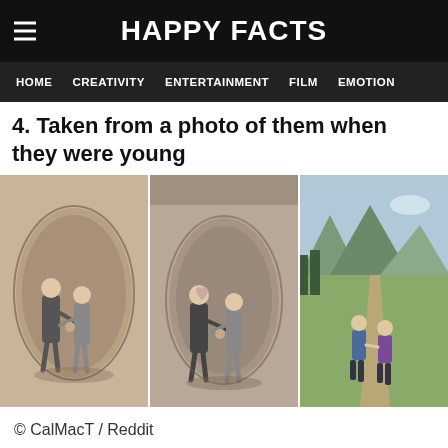HAPPY FACTS
HOME   CREATIVITY   ENTERTAINMENT   FILM   EMOTION
4. Taken from a photo of them when they were young
[Figure (photo): Three side-by-side images: two tattoos on skin depicting two children holding hands walking, and the original photo of two children holding hands on a path in a mountain landscape]
© CalMacT / Reddit